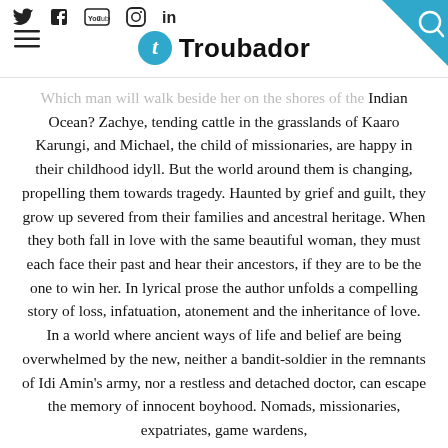Troubador — social icons header with search
Which man will walk beside her on the shores of the Indian Ocean? Zachye, tending cattle in the grasslands of Kaaro Karungi, and Michael, the child of missionaries, are happy in their childhood idyll. But the world around them is changing, propelling them towards tragedy. Haunted by grief and guilt, they grow up severed from their families and ancestral heritage. When they both fall in love with the same beautiful woman, they must each face their past and hear their ancestors, if they are to be the one to win her. In lyrical prose the author unfolds a compelling story of loss, infatuation, atonement and the inheritance of love. In a world where ancient ways of life and belief are being overwhelmed by the new, neither a bandit-soldier in the remnants of Idi Amin's army, nor a restless and detached doctor, can escape the memory of innocent boyhood. Nomads, missionaries, expatriates, game wardens,